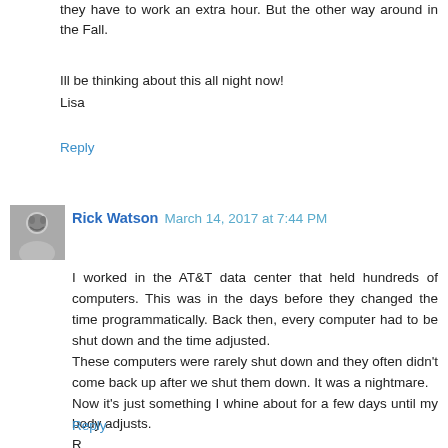they have to work an extra hour. But the other way around in the Fall.
Ill be thinking about this all night now!
Lisa
Reply
Rick Watson  March 14, 2017 at 7:44 PM
I worked in the AT&T data center that held hundreds of computers. This was in the days before they changed the time programmatically. Back then, every computer had to be shut down and the time adjusted.
These computers were rarely shut down and they often didn't come back up after we shut them down. It was a nightmare.
Now it's just something I whine about for a few days until my body adjusts.
R
Reply